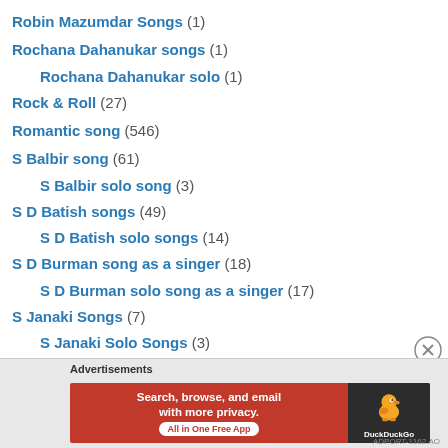Robin Mazumdar Songs (1)
Rochana Dahanukar songs (1)
Rochana Dahanukar solo (1)
Rock & Roll (27)
Romantic song (546)
S Balbir song (61)
S Balbir solo song (3)
S D Batish songs (49)
S D Batish solo songs (14)
S D Burman song as a singer (18)
S D Burman solo song as a singer (17)
S Janaki Songs (7)
S Janaki Solo Songs (3)
S P Balasubramanyam songs (19)
S P Balasubramanyam solo songs (11)
Saaqi – Maikhana Song (11)
[Figure (screenshot): DuckDuckGo advertisement banner: Search, browse, and email with more privacy. All in One Free App. With DuckDuckGo logo on dark background.]